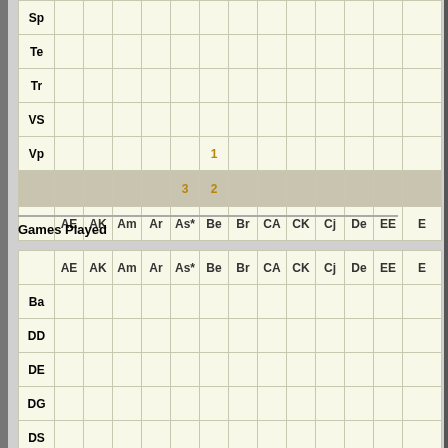|  | AE | AK | Am | Ar | As* | Be | Br | CA | CK | Cj | De | EE | E |
| --- | --- | --- | --- | --- | --- | --- | --- | --- | --- | --- | --- | --- | --- |
| Sp |  |  |  |  |  |  |  |  |  |  |  |  |  |
| Te |  |  |  |  |  |  |  |  |  |  |  |  |  |
| Tr |  |  |  |  |  |  |  |  |  |  |  |  |  |
| VS |  |  |  |  |  |  |  |  |  |  |  |  |  |
| Vp |  |  |  |  |  |  | 1 |  |  |  |  |  |  |
|  |  |  |  |  |  | 3 | 2 |  |  |  |  |  |  |
|  | AE | AK | Am | Ar | As* | Be | Br | CA | CK | Cj | De | EE | E |
Games Played
|  | AE | AK | Am | Ar | As* | Be | Br | CA | CK | Cj | De | EE | E |
| --- | --- | --- | --- | --- | --- | --- | --- | --- | --- | --- | --- | --- | --- |
| Ba |  |  |  |  |  |  |  |  |  |  |  |  |  |
| DD |  |  |  |  |  |  |  |  |  |  |  |  |  |
| DE |  |  |  |  |  |  |  |  |  |  |  |  |  |
| DG |  |  |  |  |  |  |  |  |  |  |  |  |  |
| DS |  |  |  |  |  |  |  |  |  |  |  |  |  |
| Dj |  |  |  |  |  |  |  |  | 1 |  | 1 |  |
| Dr |  |  |  |  |  |  |  |  |  | 1 |  |  |  |